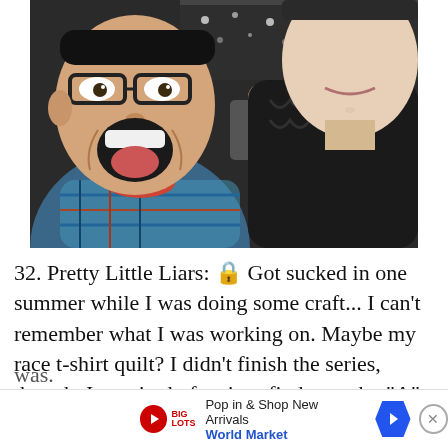[Figure (photo): Selfie of two people indoors at what appears to be a convention center. Person on left has glasses, mouth wide open with tongue out, wearing a patterned shirt. Person on right is taller, wearing a dark cable-knit sweater, with a slight smile. Convention center ceiling lights visible in background.]
32. Pretty Little Liars: 🔒 Got sucked in one summer while I was doing some craft... I can't remember what I was working on. Maybe my race t-shirt quilt? I didn't finish the series, though. I got tired of wait to find out who "A" really was.
Pop in & Shop New Arrivals
World Market
33. Chi
ago"